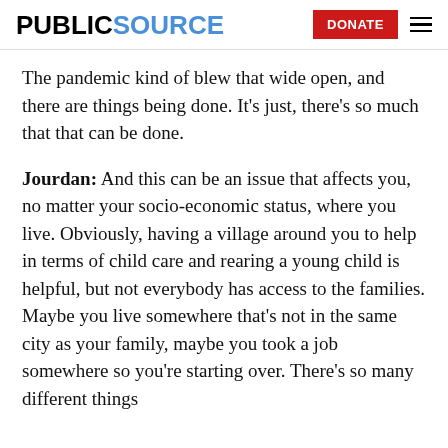PUBLICSOURCE | DONATE
The pandemic kind of blew that wide open, and there are things being done. It's just, there's so much that that can be done.
Jourdan: And this can be an issue that affects you, no matter your socio-economic status, where you live. Obviously, having a village around you to help in terms of child care and rearing a young child is helpful, but not everybody has access to the families. Maybe you live somewhere that's not in the same city as your family, maybe you took a job somewhere so you're starting over. There's so many different things that can be from that, there's also something.